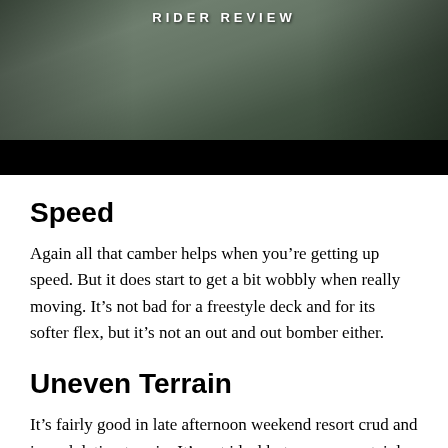[Figure (photo): Snowboarder photo with 'RIDER REVIEW' text overlay at top, dark image with trees in background, black bar at bottom]
Speed
Again all that camber helps when you’re getting up speed. But it does start to get a bit wobbly when really moving. It’s not bad for a freestyle deck and for its softer flex, but it’s not an out and out bomber either.
Uneven Terrain
It’s fairly good in late afternoon weekend resort crud and in undulating terrain. It’s not ideal but you can certainly ride in those kinds